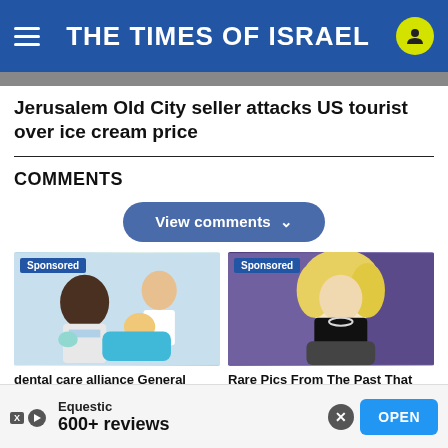THE TIMES OF ISRAEL
Jerusalem Old City seller attacks US tourist over ice cream price
COMMENTS
View comments
[Figure (photo): Sponsored dental care image showing dentist and child patient]
dental care alliance General Dentist Jobs in Ashb...
jobble...
[Figure (photo): Sponsored image of a blonde woman (celebrity) seated in a purple background]
Rare Pics From The Past That Will Shape Our Future
Equestic
600+ reviews
OPEN